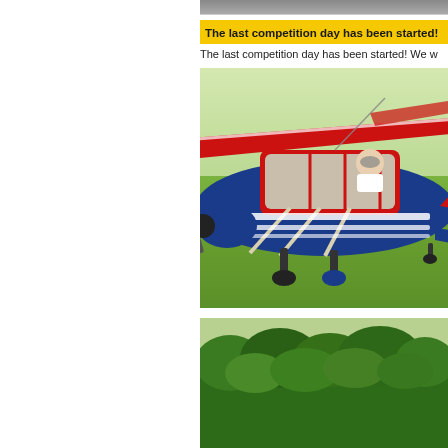[Figure (photo): Partial view of a photo at the very top of the right column, cropped.]
The last competition day has been started!
The last competition day has been started! We w
[Figure (photo): A blue and red small propeller aircraft (vintage/classic style) with white stripe accents, piloted by a person in sunglasses, taxiing on a grass airfield. Another red aircraft wing visible in background.]
[Figure (photo): Bottom photo showing trees and green landscape, partially cropped.]